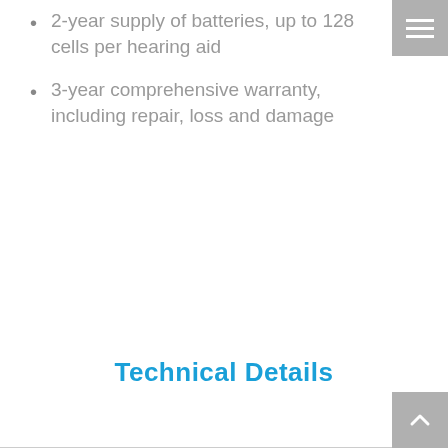2-year supply of batteries, up to 128 cells per hearing aid
3-year comprehensive warranty, including repair, loss and damage
Technical Details